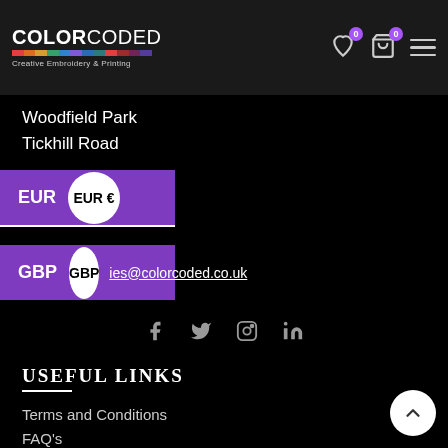COLORCODED — Creative Embroidery & Printing
Woodfield Park
Tickhill Road
EUR  EUR €
GBP  GBP  ...ies@colorcoded.co.uk
[Figure (infographic): Social media icons: Facebook, Twitter, Instagram, LinkedIn]
USEFUL LINKS
Terms and Conditions
FAQ's
GDPR Policy
Returns Policy